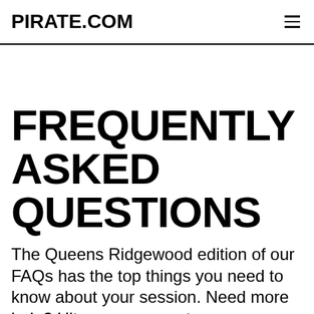PIRATE.COM
FREQUENTLY ASKED QUESTIONS
The Queens Ridgewood edition of our FAQs has the top things you need to know about your session. Need more help? Hit up our support